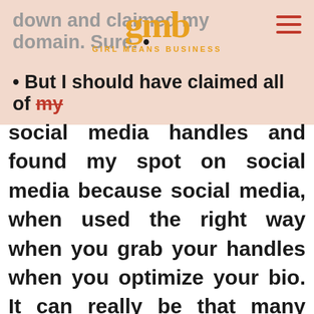down and claimed my domain. Sure.
[Figure (logo): GMB - Girl Means Business logo in orange/gold with hamburger menu icon]
But I should have claimed all of my social media handles and found my spot on social media because social media, when used the right way when you grab your handles when you optimize your bio. It can really be that many website and • • • Facebook is one of the most indexed websites from Google. So if I had started • with my social media accounts, writing the right type of captions, posting the right type of content that my ideal